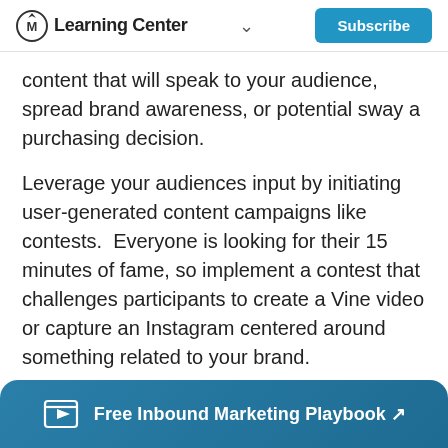Learning Center | Subscribe
content that will speak to your audience, spread brand awareness, or potential sway a purchasing decision.
Leverage your audiences input by initiating user-generated content campaigns like contests. Everyone is looking for their 15 minutes of fame, so implement a contest that challenges participants to create a Vine video or capture an Instagram centered around something related to your brand.
This type of crowdsourcing approach will help you
Free Inbound Marketing Playbook ↗